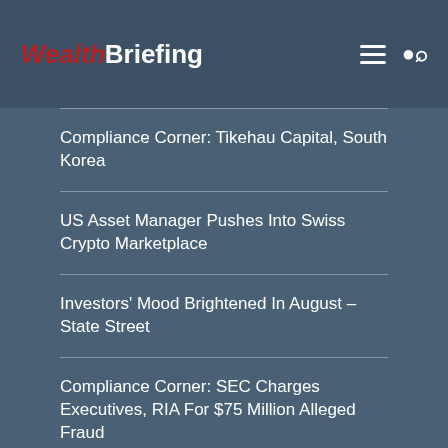WealthBriefing
Compliance Corner: Tikehau Capital, South Korea
US Asset Manager Pushes Into Swiss Crypto Marketplace
Investors' Mood Brightened In August – State Street
Compliance Corner: SEC Charges Executives, RIA For $75 Million Alleged Fraud
MOST READ